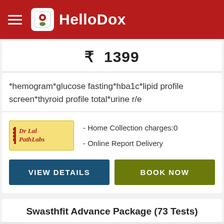HelloDox
₹ 1399
*hemogram*glucose fasting*hba1c*lipid profile screen*thyroid profile total*urine r/e
- Home Collection charges:0
- Online Report Delivery
VIEW DETAILS
BOOK NOW
Swasthfit Advance Package (73 Tests)